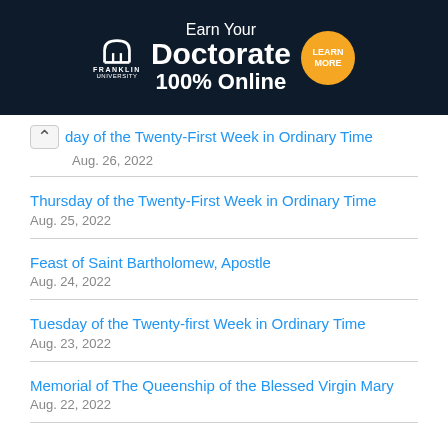[Figure (other): Franklin University advertisement banner: dark navy background with Franklin University logo (arch icon), text 'Earn Your Doctorate 100% Online', and an orange circular button saying 'LEARN MORE']
...day of the Twenty-First Week in Ordinary Time
Aug. 26, 2022
Thursday of the Twenty-First Week in Ordinary Time
Aug. 25, 2022
Feast of Saint Bartholomew, Apostle
Aug. 24, 2022
Tuesday of the Twenty-first Week in Ordinary Time
Aug. 23, 2022
Memorial of The Queenship of the Blessed Virgin Mary
Aug. 22, 2022